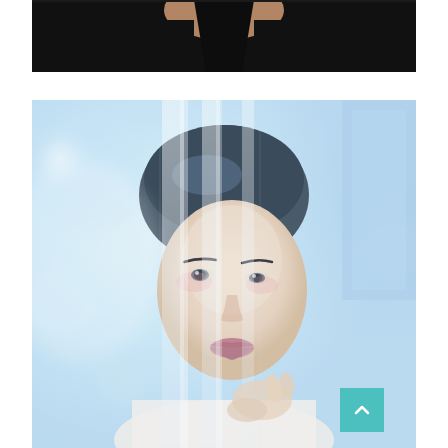[Figure (photo): Partial view of a person wearing a black top, visible from shoulders/neck area, cropped at top of frame]
[Figure (photo): Portrait of an Asian woman with hair pulled back, wearing a sheer white veil draped over her face, soft bokeh background with cool blue and white tones, hands near chin]
[Figure (other): Teal/turquoise scroll-to-top button with upward chevron arrow in bottom right corner]